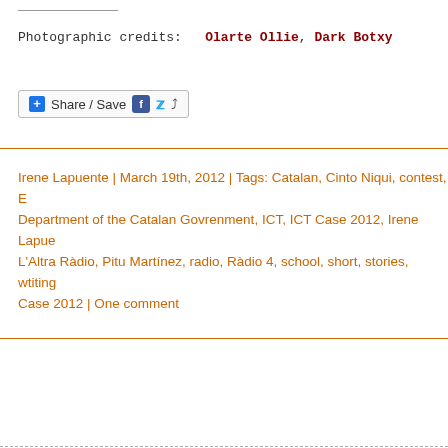Photographic credits: Olarte Ollie, Dark Botxy
[Figure (other): Share / Save social sharing button with Facebook, Twitter, and share icons]
Irene Lapuente | March 19th, 2012 | Tags: Catalan, Cinto Niqui, contest, E Department of the Catalan Govrenment, ICT, ICT Case 2012, Irene Lapue L'Altra Ràdio, Pitu Martínez, radio, Ràdio 4, school, short, stories, wtiting Case 2012 | One comment